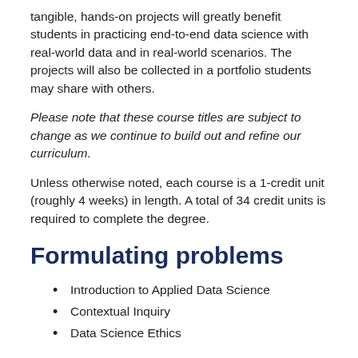tangible, hands-on projects will greatly benefit students in practicing end-to-end data science with real-world data and in real-world scenarios. The projects will also be collected in a portfolio students may share with others.
Please note that these course titles are subject to change as we continue to build out and refine our curriculum.
Unless otherwise noted, each course is a 1-credit unit (roughly 4 weeks) in length. A total of 34 credit units is required to complete the degree.
Formulating problems
Introduction to Applied Data Science
Contextual Inquiry
Data Science Ethics